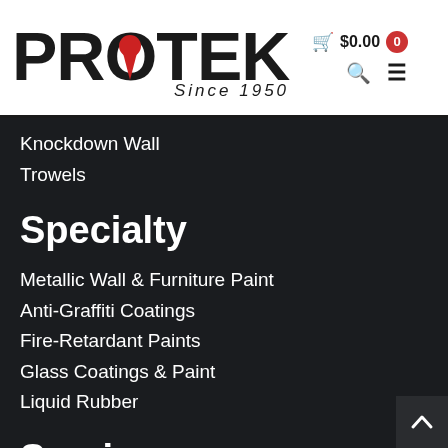[Figure (logo): PROTEK Since 1950 logo with a red teardrop/drip through the O letter]
Knockdown Wall
Trowels
Specialty
Metallic Wall & Furniture Paint
Anti-Graffiti Coatings
Fire-Retardant Paints
Glass Coatings & Paint
Liquid Rubber
Services
Custom Manufacturing